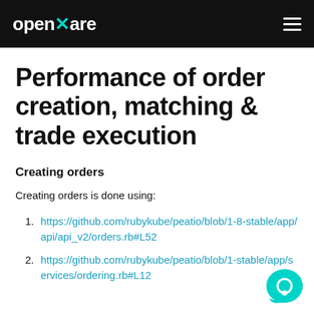openware
Performance of order creation, matching & trade execution
Creating orders
Creating orders is done using:
https://github.com/rubykube/peatio/blob/1-8-stable/app/api/api_v2/orders.rb#L52
https://github.com/rubykube/peatio/blob/1-stable/app/services/ordering.rb#L12